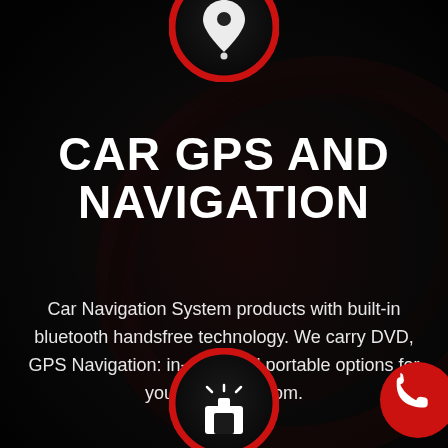[Figure (illustration): Red-rimmed circular icon at top with white GPS/location pin symbol on dark background]
CAR GPS AND NAVIGATION
Car Navigation System products with built-in bluetooth handsfree technology. We carry DVD, GPS Navigation: in-dash and portable options for you to choose from.
[Figure (illustration): Red-rimmed circular icon at bottom center with white car alarm/beacon symbol]
[Figure (illustration): Solid red circular icon at bottom right with white phone handset symbol]